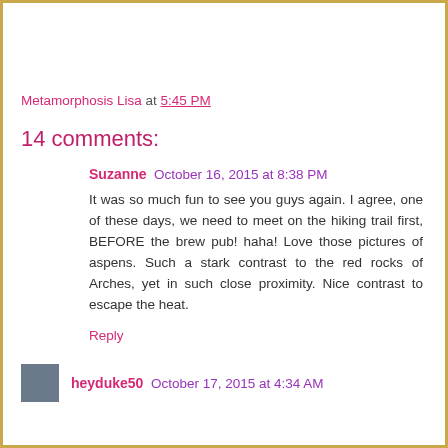Metamorphosis Lisa at 5:45 PM
14 comments:
Suzanne  October 16, 2015 at 8:38 PM
It was so much fun to see you guys again. I agree, one of these days, we need to meet on the hiking trail first, BEFORE the brew pub! haha! Love those pictures of aspens. Such a stark contrast to the red rocks of Arches, yet in such such close proximity. Nice contrast to escape the heat.
Reply
heyduke50  October 17, 2015 at 4:34 AM